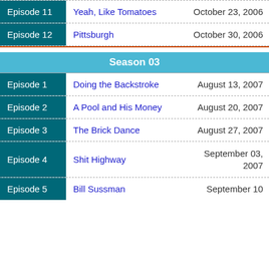| Episode | Title | Air Date |
| --- | --- | --- |
| Episode 11 | Yeah, Like Tomatoes | October 23, 2006 |
| Episode 12 | Pittsburgh | October 30, 2006 |
Season 03
| Episode | Title | Air Date |
| --- | --- | --- |
| Episode 1 | Doing the Backstroke | August 13, 2007 |
| Episode 2 | A Pool and His Money | August 20, 2007 |
| Episode 3 | The Brick Dance | August 27, 2007 |
| Episode 4 | Shit Highway | September 03, 2007 |
| Episode 5 | Bill Sussman | September 10 |